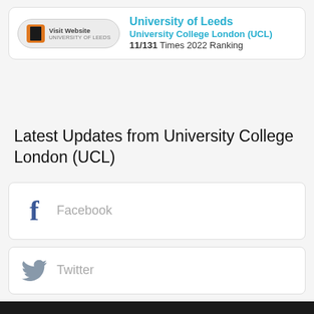[Figure (screenshot): University of Leeds visit website button with logo]
University of Leeds
University College London (UCL)
11/131 Times 2022 Ranking
Latest Updates from University College London (UCL)
[Figure (logo): Facebook icon with label]
[Figure (logo): Twitter icon with label]